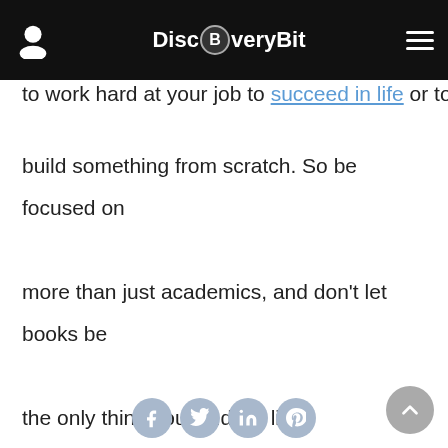DiscBveryBit
to work hard at your job to succeed in life or to build something from scratch. So be focused on more than just academics, and don't let books be the only thing you study in life.
[Figure (other): Social media share icons: Facebook, Twitter, LinkedIn, Pinterest]
[Figure (other): Scroll to top button]